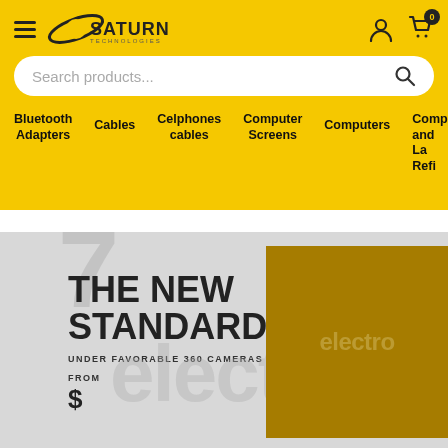Saturn Technologies - Navigation header with hamburger menu, logo, user icon, cart icon (0 items)
Search products...
Bluetooth Adapters
Cables
Celphones cables
Computer Screens
Computers
Comp and La Refi
[Figure (screenshot): E-commerce banner with large number 7, headline THE NEW STANDARD, subtext UNDER FAVORABLE 360 CAMERAS, FROM $, electro watermark text, and a gold/dark-yellow rectangular box with electro text]